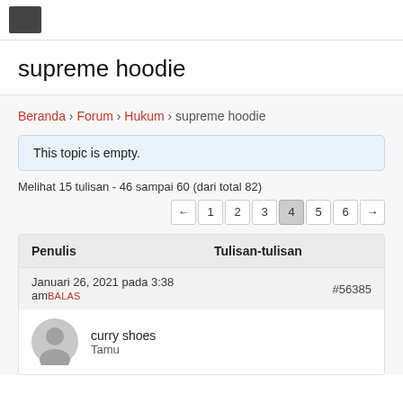≡ (hamburger menu icon)
supreme hoodie
Beranda › Forum › Hukum › supreme hoodie
This topic is empty.
Melihat 15 tulisan - 46 sampai 60 (dari total 82)
← 1 2 3 4 5 6 →
| Penulis | Tulisan-tulisan |
| --- | --- |
| Januari 26, 2021 pada 3:38 amBALAS | #56385 |
| curry shoes
Tamu |  |